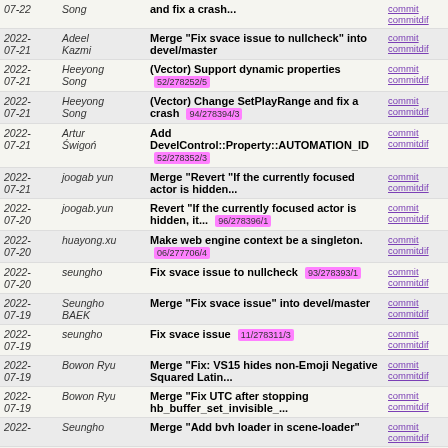| Date | Author | Message | Links |
| --- | --- | --- | --- |
| 2022-07-22 | Song | and fix a crash... | commit | commitdif |
| 2022-07-21 | Adeel Kazmi | Merge "Fix svace issue to nullcheck" into devel/master | commit | commitdif |
| 2022-07-21 | Heeyong Song | (Vector) Support dynamic properties  52/278252/5 | commit | commitdif |
| 2022-07-21 | Heeyong Song | (Vector) Change SetPlayRange and fix a crash  94/278394/3 | commit | commitdif |
| 2022-07-21 | Artur Świgoń | Add DevelControl::Property::AUTOMATION_ID  52/278352/3 | commit | commitdif |
| 2022-07-21 | joogab yun | Merge "Revert "If the currently focused actor is hidden... | commit | commitdif |
| 2022-07-20 | joogab.yun | Revert "If the currently focused actor is hidden, it...  96/278396/1 | commit | commitdif |
| 2022-07-20 | huayong.xu | Make web engine context be a singleton.  06/277706/4 | commit | commitdif |
| 2022-07-20 | seungho | Fix svace issue to nullcheck  93/278393/1 | commit | commitdif |
| 2022-07-19 | Seungho BAEK | Merge "Fix svace issue" into devel/master | commit | commitdif |
| 2022-07-19 | seungho | Fix svace issue  11/278311/3 | commit | commitdif |
| 2022-07-19 | Bowon Ryu | Merge "Fix: VS15 hides non-Emoji Negative Squared Latin... | commit | commitdif |
| 2022-07-19 | Bowon Ryu | Merge "Fix UTC after stopping hb_buffer_set_invisible_... | commit | commitdif |
| 2022-07-19 | Seungho | Merge "Add bvh loader in scene-loader" | commit | commitdif |